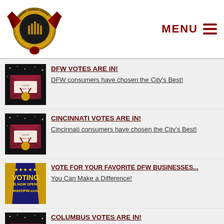Consumers' Choice Award | MENU
DFW VOTES ARE IN! DFW consumers have chosen the City's Best!
CINCINNATI VOTES ARE IN! Cincinnati consumers have chosen the City's Best!
VOTE FOR YOUR FAVORITE DFW BUSINESSES... You Can Make a Difference!
COLUMBUS VOTES ARE IN! Columbus consumers have chosen the